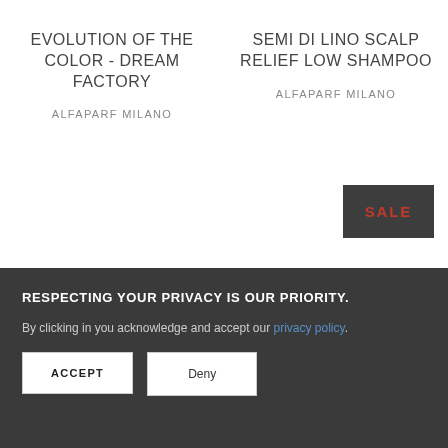EVOLUTION OF THE COLOR - DREAM FACTORY
ALFAPARF MILANO
SEMI DI LINO SCALP RELIEF LOW SHAMPOO
ALFAPARF MILANO
SALE
RESPECTING YOUR PRIVACY IS OUR PRIORITY.
By clicking in you acknowledge and accept our privacy policy.
ACCEPT
Deny